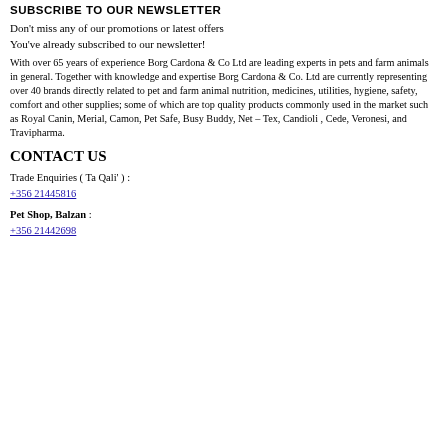SUBSCRIBE TO OUR NEWSLETTER
Don't miss any of our promotions or latest offers
You've already subscribed to our newsletter!
With over 65 years of experience Borg Cardona & Co Ltd are leading experts in pets and farm animals in general. Together with knowledge and expertise Borg Cardona & Co. Ltd are currently representing over 40 brands directly related to pet and farm animal nutrition, medicines, utilities, hygiene, safety, comfort and other supplies; some of which are top quality products commonly used in the market such as Royal Canin, Merial, Camon, Pet Safe, Busy Buddy, Net – Tex, Candioli , Cede, Veronesi, and Travipharma.
CONTACT US
Trade Enquiries ( Ta Qali' ) :
+356 21445816
Pet Shop, Balzan :
+356 21442698